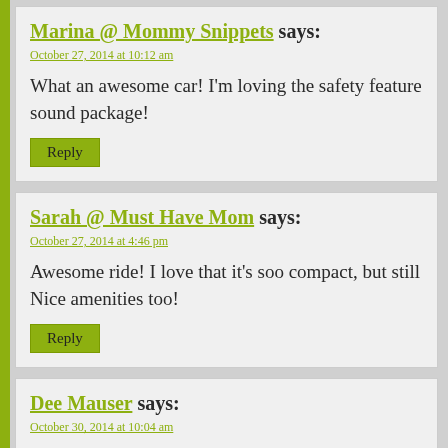Marina @ Mommy Snippets says:
October 27, 2014 at 10:12 am
What an awesome car! I'm loving the safety feature sound package!
[Reply]
Sarah @ Must Have Mom says:
October 27, 2014 at 4:46 pm
Awesome ride! I love that it's soo compact, but still Nice amenities too!
[Reply]
Dee Mauser says:
October 30, 2014 at 10:04 am
After going from driving a sporty Ford Mustang to a...